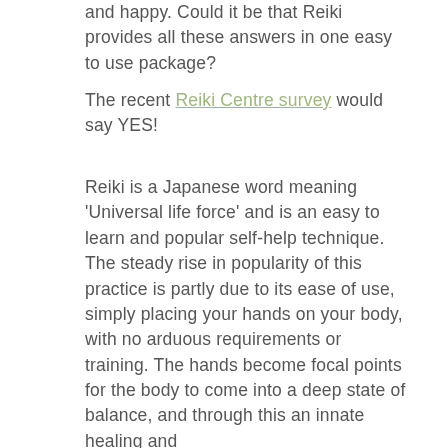and happy. Could it be that Reiki provides all these answers in one easy to use package?
The recent Reiki Centre survey would say YES!
Reiki is a Japanese word meaning 'Universal life force' and is an easy to learn and popular self-help technique. The steady rise in popularity of this practice is partly due to its ease of use, simply placing your hands on your body, with no arduous requirements or training. The hands become focal points for the body to come into a deep state of balance, and through this an innate healing and